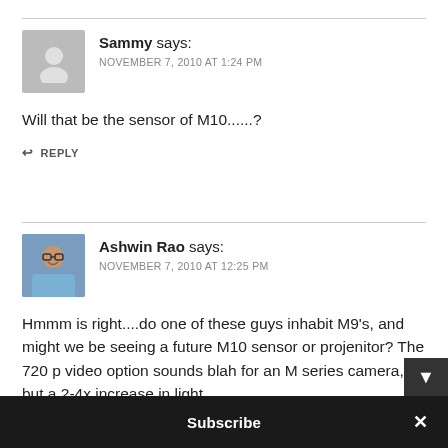Sammy says:
NOVEMBER 7, 2010 AT 1:24 PM
Will that be the sensor of M10......?
↩ REPLY
Ashwin Rao says:
NOVEMBER 7, 2010 AT 12:25 PM
Hmmm is right....do one of these guys inhabit M9's, and might we be seeing a future M10 sensor or projenitor? The 720 p video option sounds blah for an M series camera, but a 2-4x increase in light
Subscribe